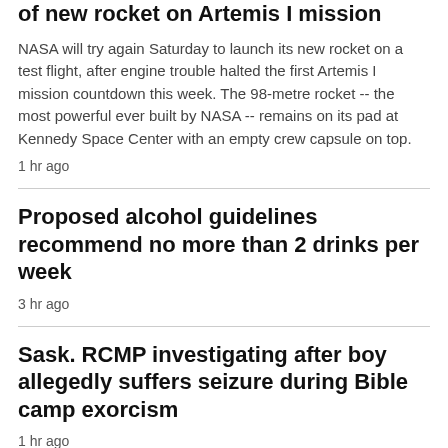of new rocket on Artemis I mission
NASA will try again Saturday to launch its new rocket on a test flight, after engine trouble halted the first Artemis I mission countdown this week. The 98-metre rocket -- the most powerful ever built by NASA -- remains on its pad at Kennedy Space Center with an empty crew capsule on top.
1 hr ago
Proposed alcohol guidelines recommend no more than 2 drinks per week
3 hr ago
Sask. RCMP investigating after boy allegedly suffers seizure during Bible camp exorcism
1 hr ago
PM Trudeau to shuffle cabinet on Wednesday